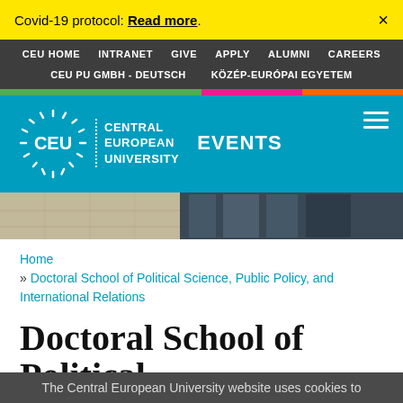Covid-19 protocol: Read more. ×
CEU HOME  INTRANET  GIVE  APPLY  ALUMNI  CAREERS  CEU PU GMBH - DEUTSCH  KÖZÉP-EURÓPAI EGYETEM
CEU Central European University  EVENTS
[Figure (photo): Building exterior photo with glass facade and stone architecture]
Home » Doctoral School of Political Science, Public Policy, and International Relations
Doctoral School of Political
The Central European University website uses cookies to